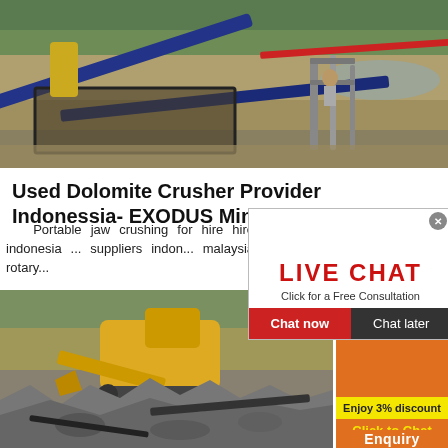[Figure (photo): Mining/crushing equipment at a sandy outdoor site with conveyor belt and machinery frames]
Used Dolomite Crusher Provider Indonessia- EXODUS Mining ...
Portable jaw crushing for hire hire indonesia ... suppliers indon... malaysia rotary...
[Figure (screenshot): Live Chat popup overlay with person in hard hat, LIVE CHAT heading in red, 'Click for a Free Consultation' text, Chat now (red) and Chat later (dark) buttons, and close X button]
[Figure (photo): Excavator and rock crushing equipment at a quarry/mining site with rubble in foreground]
[Figure (infographic): Orange sidebar panel showing mining machinery images, Enjoy 3% discount bar, Click to Chat in yellow text, and Enquiry button]